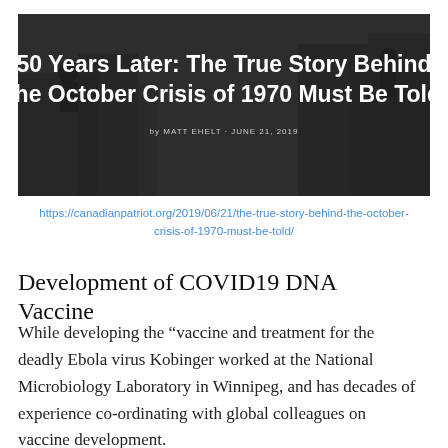[Figure (photo): Dark grayscale background with silhouettes of people/military figures, overlaid with bold white text: '50 Years Later: The True Story Behind the October Crisis of 1970 Must Be Told' and byline 'by MATT EHELT · JUNE 21, 2019']
https://canadianpatriot.org/2019/06/21/the-true-story-behind-the-october-crisis-of-1970-must-be-told/
Development of COVID19 DNA Vaccine
While developing the “vaccine and treatment for the deadly Ebola virus Kobinger worked at the National Microbiology Laboratory in Winnipeg, and has decades of experience co-ordinating with global colleagues on vaccine development.